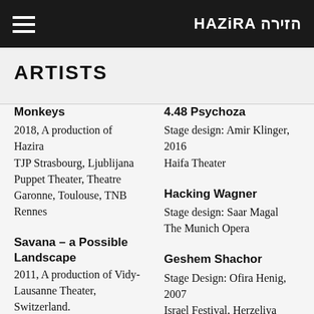HAZIRA הזירה
ARTISTS
Monkeys
2018, A production of Hazira
TJP Strasbourg, Ljublijana Puppet Theater, Theatre Garonne, Toulouse, TNB Rennes
4.48 Psychoza
Stage design: Amir Klinger, 2016
Haifa Theater
Hacking Wagner
Stage design: Saar Magal
The Munich Opera
Savana - a Possible Landscape
2011, A production of Vidy-Lausanne Theater, Switzerland.
A joint production with Theatre Bonlliue,
Geshem Shachor
Stage Design: Ofira Henig, 2007
Israel Festival, Herzeliya Ensemble
Etz Kaf Havad